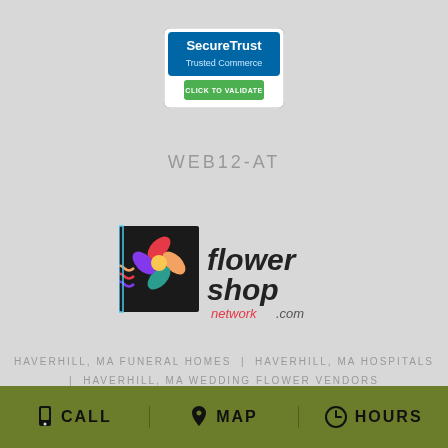[Figure (logo): SecureTrust Trusted Commerce - Click to Validate badge]
WEB12-AT
[Figure (logo): Flower Shop Network .com logo with colorful floral graphic]
HAVERHILL, MA FUNERAL HOMES | HAVERHILL, MA HOSPITALS | HAVERHILL, MA WEDDING FLOWER VENDORS
HAVERHILL, MA WEATHER | MA STATE GOVERNMENT SITE
PRIVACY POLICY | TERMS OF PURCHASE
CALL  MAP  HOURS